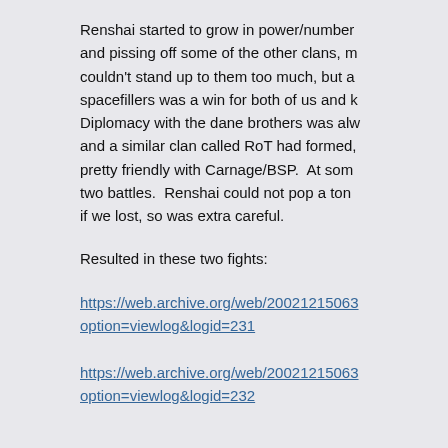Renshai started to grow in power/number and pissing off some of the other clans, m couldn't stand up to them too much, but a spacefillers was a win for both of us and k Diplomacy with the dane brothers was alw and a similar clan called RoT had formed, pretty friendly with Carnage/BSP.  At som two battles.  Renshai could not pop a ton if we lost, so was extra careful.
Resulted in these two fights:
https://web.archive.org/web/20021215063 option=viewlog&logid=231
https://web.archive.org/web/20021215063 option=viewlog&logid=232
Syndicate, basically shriners and fury, the
https://web.archive.org/web/20021215063 option=viewlog&logid=241
After that we had to do skirmishing and a